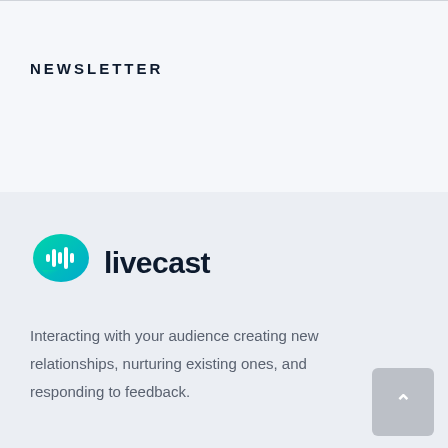NEWSLETTER
[Figure (logo): Livecast logo: teal speech bubble with audio waveform icon, followed by bold text 'livecast']
Interacting with your audience creating new relationships, nurturing existing ones, and responding to feedback.